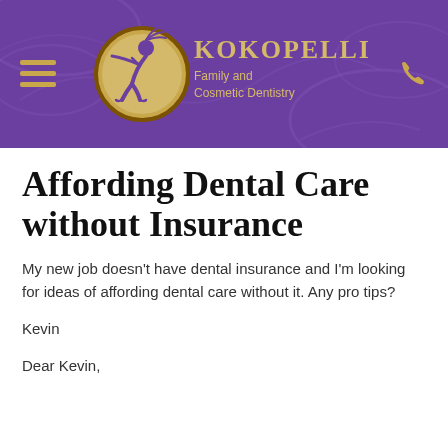[Figure (logo): Kokopelli Family and Cosmetic Dentistry website header with purple background, Kokopelli figure in gold circle logo, brand name in gold text, hamburger menu icon on left, phone icon on right]
Affording Dental Care without Insurance
My new job doesn’t have dental insurance and I’m looking for ideas of affording dental care without it. Any pro tips?
Kevin
Dear Kevin,